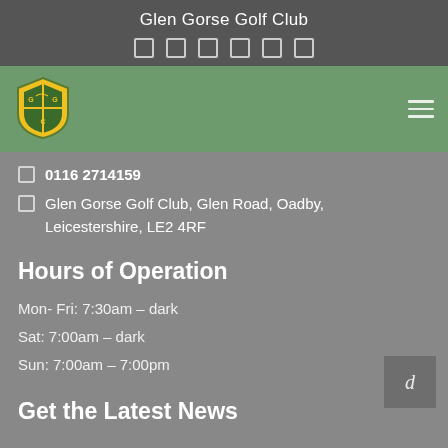Glen Gorse Golf Club
[Figure (logo): Glen Gorse Golf Club shield logo — yellow and green crest with GGC letters]
0116 2714159
Glen Gorse Golf Club, Glen Road, Oadby, Leicestershire, LE2 4RF
Hours of Operation
Mon- Fri: 7:30am – dark
Sat: 7:00am – dark
Sun: 7:00am – 7:00pm
Get the Latest News